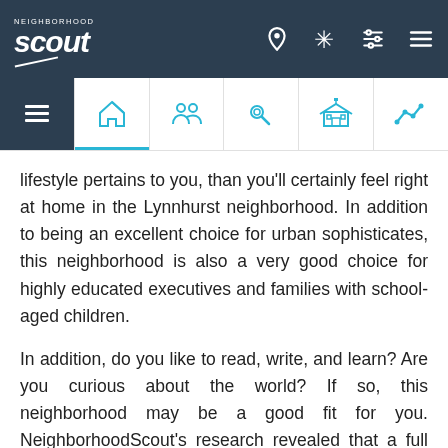Neighborhood Scout navigation header with logo and icons
lifestyle pertains to you, than you'll certainly feel right at home in the Lynnhurst neighborhood. In addition to being an excellent choice for urban sophisticates, this neighborhood is also a very good choice for highly educated executives and families with school-aged children.
In addition, do you like to read, write, and learn? Are you curious about the world? If so, this neighborhood may be a good fit for you. NeighborhoodScout's research revealed that a full 83.0% of the adults living in the Lynnhurst neighborhood are well-educated,